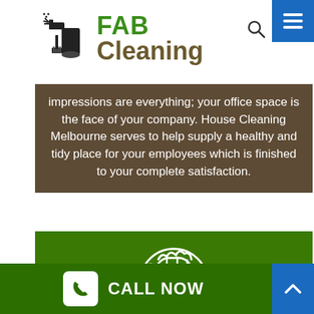[Figure (logo): FAB Cleaning logo with cleaning spray bottle icon, green FAB text and brown Cleaning text]
impressions are everything; your office space is the face of your company. House Cleaning Melbourne serves to help supply a healthy and tidy place for your employees which is finished to your complete satisfaction.
[Figure (illustration): White outline icon of a cleaning glove/mitt on green background]
MOVE IN/OUT
CALL NOW